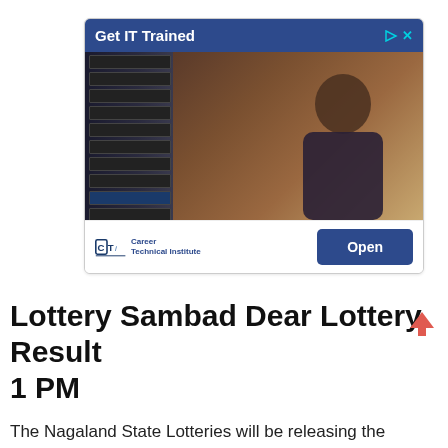[Figure (screenshot): Advertisement banner for Career Technical Institute with 'Get IT Trained' header in blue, showing a person working with server racks. Bottom shows CTI logo and an 'Open' button.]
Lottery Sambad Dear Lottery Result 1 PM
The Nagaland State Lotteries will be releasing the